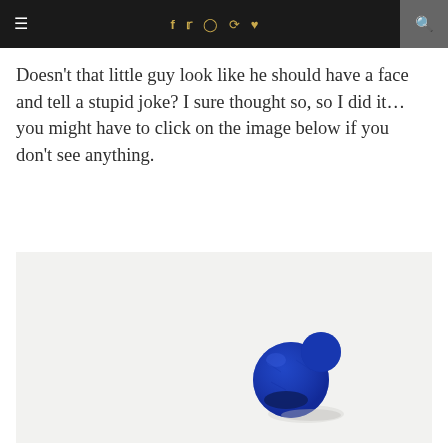≡  f  𝕏  ⊙  𝗉  ♥  🔍
Doesn't that little guy look like he should have a face and tell a stupid joke? I sure thought so, so I did it…you might have to click on the image below if you don't see anything.
[Figure (photo): A small blue felt ball with an indent suggesting a mouth, photographed on a white/light grey background.]